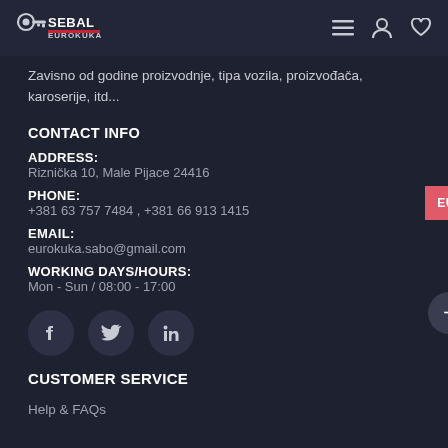[Figure (logo): Sebal Eurokuka logo - white text on dark background with red accent]
Zavisno od godine proizvodnje, tipa vozila, proizvođača, karoserije, itd...
CONTACT INFO
ADDRESS:
Riznička 10, Male Pijace 24416
PHONE:
+381 63 757 7484 , +381 66 913 1415
EMAIL:
eurokuka.sabo@gmail.com
WORKING DAYS/HOURS:
Mon - Sun / 08:00 - 17:00
[Figure (illustration): Social media icons: Facebook, Twitter, LinkedIn in circular dark buttons]
CUSTOMER SERVICE
Help & FAQs